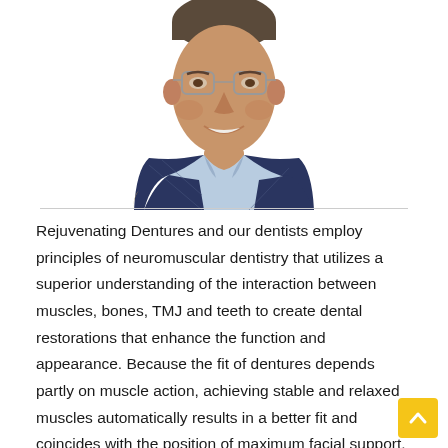[Figure (photo): Headshot photo of a smiling elderly man wearing glasses, a navy argyle vest over a light blue collared shirt. The photo is cropped at the shoulders, showing his head and upper torso against a white background.]
Rejuvenating Dentures and our dentists employ principles of neuromuscular dentistry that utilizes a superior understanding of the interaction between muscles, bones, TMJ and teeth to create dental restorations that enhance the function and appearance. Because the fit of dentures depends partly on muscle action, achieving stable and relaxed muscles automatically results in a better fit and coincides with the position of maximum facial support. Dentures that fit this way restore a youthful facial